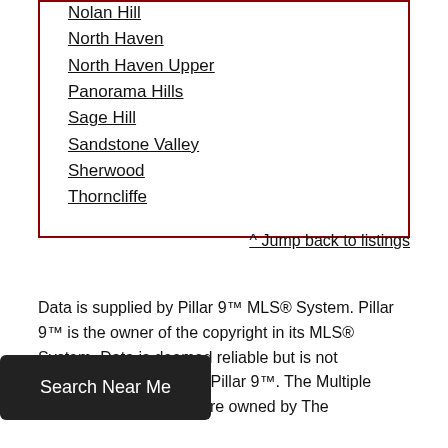Nolan Hill
North Haven
North Haven Upper
Panorama Hills
Sage Hill
Sandstone Valley
Sherwood
Thorncliffe
^ Jump back to listings
Data is supplied by Pillar 9™ MLS® System. Pillar 9™ is the owner of the copyright in its MLS® System. Data is deemed reliable but is not guaranteed accurate by Pillar 9™. The Multiple Listing Service® logos are owned by The (cont.)